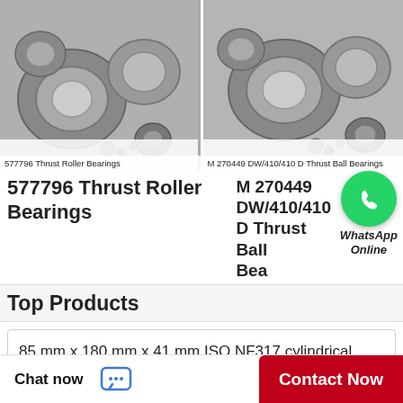[Figure (photo): Photo of 577796 Thrust Roller Bearings - multiple metal bearings of different sizes arranged together]
577796 Thrust Roller Bearings
[Figure (photo): Photo of M 270449 DW/410/410 D Thrust Ball Bearings - multiple metal bearings of different sizes arranged together]
M 270449 DW/410/410 D  Thrust Ball Bearings
577796 Thrust Roller Bearings
M 270449 DW/410/410 D Thrust Ball Bearings
[Figure (logo): WhatsApp green circle icon with phone handset. Label: WhatsApp Online]
Top Products
85 mm x 180 mm x 41 mm ISO NF317 cylindrical roller bearings
90 mm x 190 mm x 64 mm ISB 32318 tapered roller bearings
Chat now
Contact Now